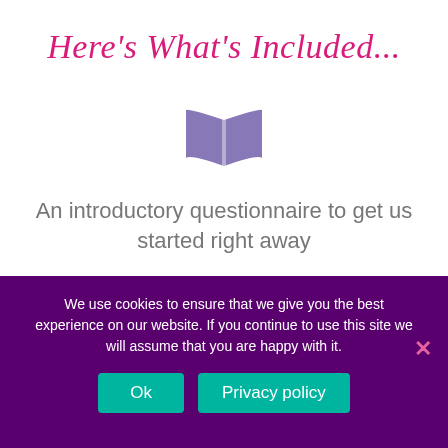Here's What's Included...
[Figure (illustration): Open book icon in muted purple/lavender color]
An introductory questionnaire to get us started right away
[Figure (illustration): Open book icon in muted purple/lavender color]
We use cookies to ensure that we give you the best experience on our website. If you continue to use this site we will assume that you are happy with it.